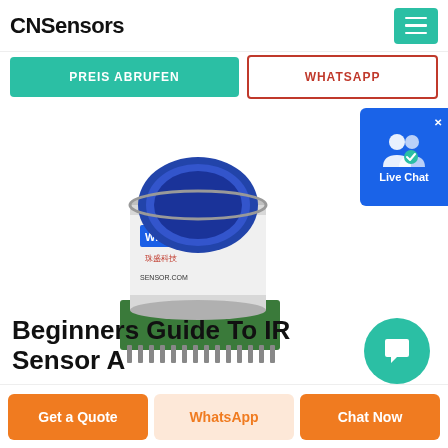CNSensors
[Figure (photo): Winson infrared CO2 sensor module with blue optical window on top, cylindrical metal body with label reading 'Wi Sen 珠盛科技 SENSOR.COM', mounted on a green PCB circuit board with header pins]
Beginners Guide To IR Sensor And
PREIS ABRUFEN
WHATSAPP
Live Chat
Get a Quote
WhatsApp
Chat Now